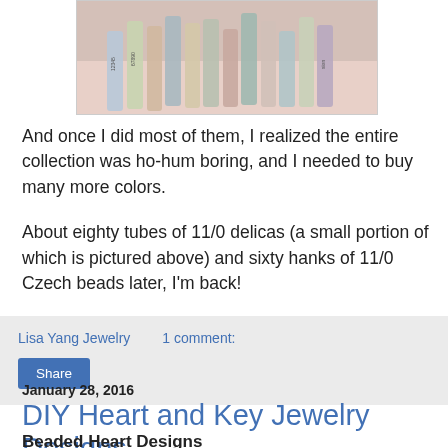[Figure (photo): Partial view of bead tubes scattered on a light pink surface, various colors and sizes of 11/0 delica bead tubes]
And once I did most of them, I realized the entire collection was ho-hum boring, and I needed to buy many more colors.

About eighty tubes of 11/0 delicas (a small portion of which is pictured above) and sixty hanks of 11/0 Czech beads later, I'm back!
Lisa Yang Jewelry    1 comment:
Share
January 28, 2016
DIY Heart and Key Jewelry Designs
Beaded Heart Designs